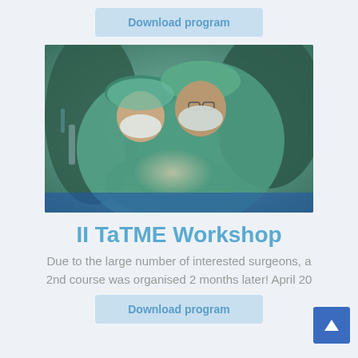Download program
[Figure (photo): Surgeons in teal/green surgical gowns and masks performing an operation, close-up view of the surgical team working together]
II TaTME Workshop
Due to the large number of interested surgeons, a 2nd course was organised 2 months later! April 20
Download program